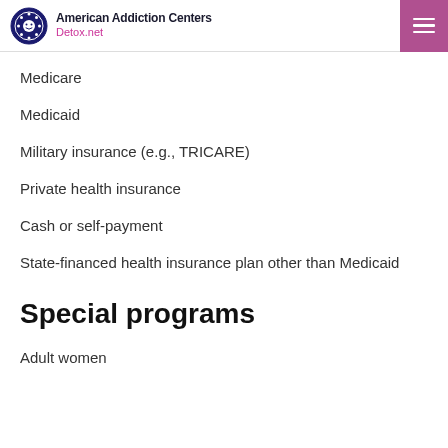American Addiction Centers Detox.net
Medicare
Medicaid
Military insurance (e.g., TRICARE)
Private health insurance
Cash or self-payment
State-financed health insurance plan other than Medicaid
Special programs
Adult women